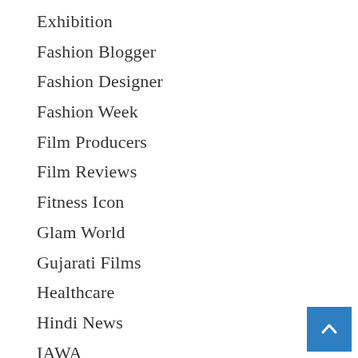Exhibition
Fashion Blogger
Fashion Designer
Fashion Week
Film Producers
Film Reviews
Fitness Icon
Glam World
Gujarati Films
Healthcare
Hindi News
IAWA
IMF